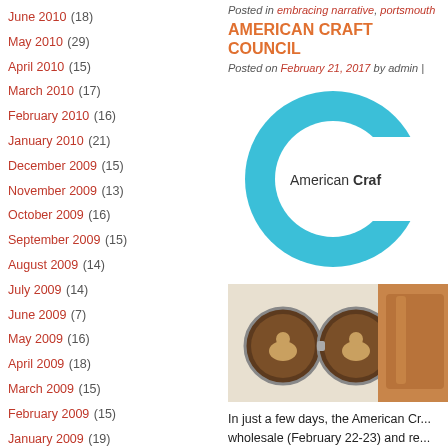June 2010 (18)
May 2010 (29)
April 2010 (15)
March 2010 (17)
February 2010 (16)
January 2010 (21)
December 2009 (15)
November 2009 (13)
October 2009 (16)
September 2009 (15)
August 2009 (14)
July 2009 (14)
June 2009 (7)
May 2009 (16)
April 2009 (18)
March 2009 (15)
February 2009 (15)
January 2009 (19)
December 2008 (15)
Posted in embracing narrative, portsmouth
AMERICAN CRAFT COUNCIL
Posted on February 21, 2017 by admin |
[Figure (logo): American Craft Council logo: teal C shape with 'American Craft' text inside]
[Figure (photo): Wooden cufflinks with bear engraving and a wooden cup]
In just a few days, the American Cr... wholesale (February 22-23) and re...